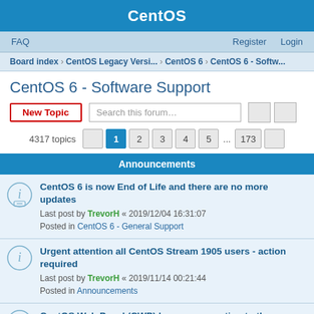CentOS
FAQ   Register   Login
Board index › CentOS Legacy Versi... › CentOS 6 › CentOS 6 - Softw...
CentOS 6 - Software Support
New Topic  Search this forum…  4317 topics  1 2 3 4 5 ... 173
Announcements
CentOS 6 is now End of Life and there are no more updates
Last post by TrevorH « 2019/12/04 16:31:07
Posted in CentOS 6 - General Support
Urgent attention all CentOS Stream 1905 users - action required
Last post by TrevorH « 2019/11/14 00:21:44
Posted in Announcements
CentOS Web Panel (CWP) has no connection to the CentOS Project
Last post by TrevorH « 2018/03/12 17:12:22
Posted in CentOS - FAQ & Readme First
Note: Forums Are Moderated For All Users